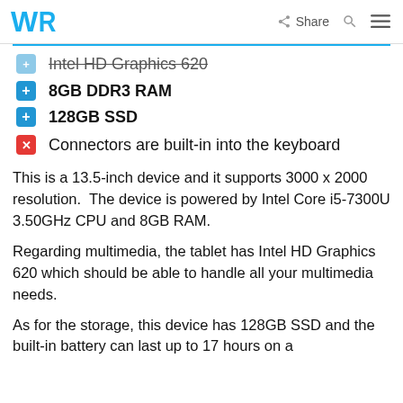WR | Share
Intel HD Graphics 620 (strikethrough/partial)
8GB DDR3 RAM
128GB SSD
Connectors are built-in into the keyboard
This is a 13.5-inch device and it supports 3000 x 2000 resolution.  The device is powered by Intel Core i5-7300U 3.50GHz CPU and 8GB RAM.
Regarding multimedia, the tablet has Intel HD Graphics 620 which should be able to handle all your multimedia needs.
As for the storage, this device has 128GB SSD and the built-in battery can last up to 17 hours on a